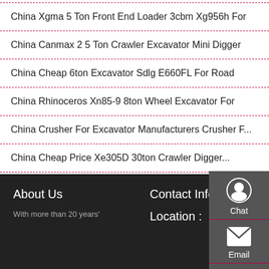China Xgma 5 Ton Front End Loader 3cbm Xg956h For
China Canmax 2 5 Ton Crawler Excavator Mini Digger
China Cheap 6ton Excavator Sdlg E660FL For Road
China Rhinoceros Xn85-9 8ton Wheel Excavator For
China Crusher For Excavator Manufacturers Crusher F...
China Cheap Price Xe305D 30ton Crawler Digger...
[Figure (infographic): Sidebar contact panel with Chat, Email, and Contact buttons on dark grey background]
About Us
Contact Info
With more than 20 years'
Location :